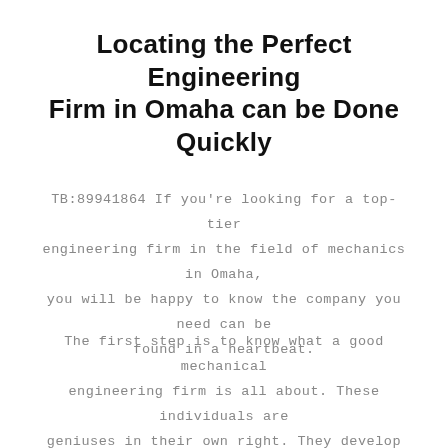Locating the Perfect Engineering Firm in Omaha can be Done Quickly
TB:89941864 If you're looking for a top-tier engineering firm in the field of mechanics in Omaha, you will be happy to know the company you need can be found in a heartbeat.
The first step is to know what a good mechanical engineering firm is all about. These individuals are geniuses in their own right. They develop digital models, and even 3D models, of products that can be used on assembly lines. These products can also be used in most types of industrial settings.